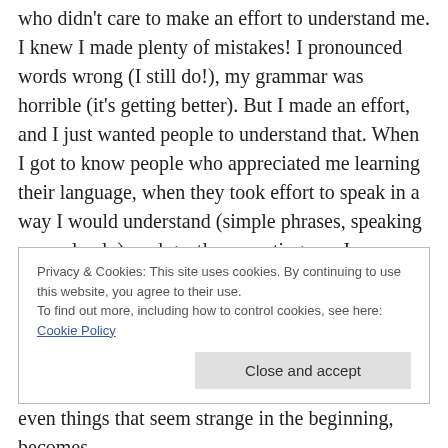who didn't care to make an effort to understand me. I knew I made plenty of mistakes! I pronounced words wrong (I still do!), my grammar was horrible (it's getting better). But I made an effort, and I just wanted people to understand that. When I got to know people who appreciated me learning their language, when they took effort to speak in a way I would understand (simple phrases, speaking more slowly), and gently correcting me, I was so grateful! And that made a big change in my progress.
Privacy & Cookies: This site uses cookies. By continuing to use this website, you agree to their use.
To find out more, including how to control cookies, see here: Cookie Policy
Close and accept
even things that seem strange in the beginning, becomes